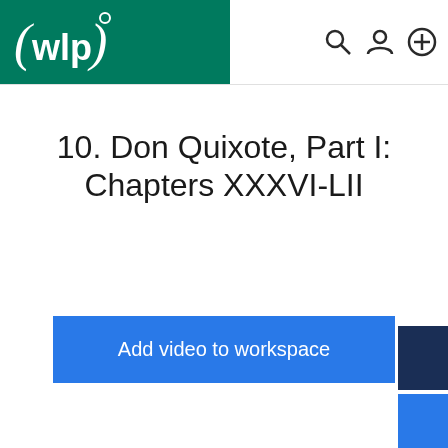[Figure (logo): WLP logo on dark green background with search, user, and add icons in header]
10. Don Quixote, Part I: Chapters XXXVI-LII
Add video to workspace